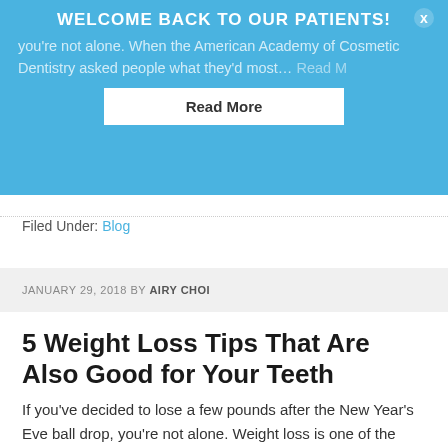[Figure (other): Blue promotional banner with 'WELCOME BACK TO OUR PATIENTS!' heading, partial body text, a 'Read More' button, and a close (X) button]
Filed Under: Blog
JANUARY 29, 2018 BY AIRY CHOI
5 Weight Loss Tips That Are Also Good for Your Teeth
If you’ve decided to lose a few pounds after the New Year’s Eve ball drop, you’re not alone. Weight loss is one of the most common New Year’s resolutions made every year. Making smart food choices is one time-tested action